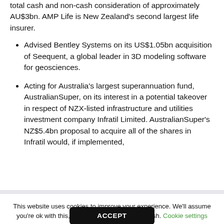total cash and non-cash consideration of approximately AU$3bn. AMP Life is New Zealand's second largest life insurer.
Advised Bentley Systems on its US$1.05bn acquisition of Seequent, a global leader in 3D modeling software for geosciences.
Acting for Australia's largest superannuation fund, AustralianSuper, on its interest in a potential takeover in respect of NZX-listed infrastructure and utilities investment company Infratil Limited. AustralianSuper's NZ$5.4bn proposal to acquire all of the shares in Infratil would, if implemented,
This website uses cookies to improve your experience. We'll assume you're ok with this, but you can opt-out if you wish. Cookie settings
ACCEPT